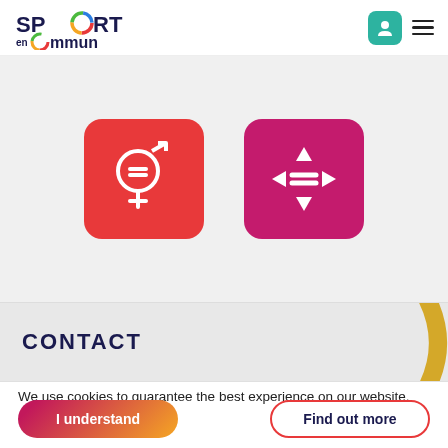[Figure (logo): Sport en Commun logo with colorful circle motif]
[Figure (screenshot): Two colored icon cards: orange-red card with gender equality symbol, magenta card with navigation/move arrows icon]
CONTACT
We use cookies to guarantee the best experience on our website.
I understand
Find out more